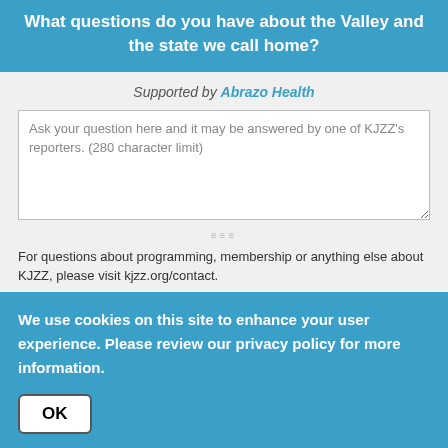What questions do you have about the Valley and the state we call home?
Supported by Abrazo Health
Ask your question here and it may be answered by one of KJZZ's reporters. (280 character limit)
For questions about programming, membership or anything else about KJZZ, please visit kjzz.org/contact.
Your contact info
We'll be in touch if we look into your question.
We use cookies on this site to enhance your user experience. Please review our privacy policy for more information.
OK